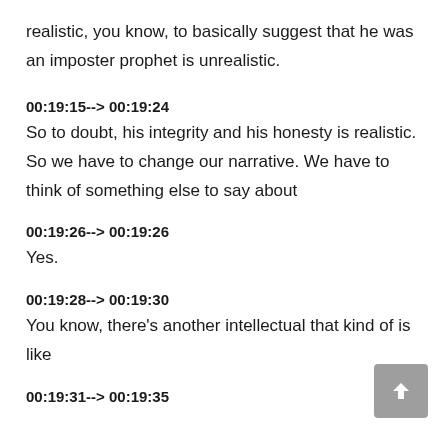realistic, you know, to basically suggest that he was an imposter prophet is unrealistic.
00:19:15--> 00:19:24
So to doubt, his integrity and his honesty is realistic. So we have to change our narrative. We have to think of something else to say about
00:19:26--> 00:19:26
Yes.
00:19:28--> 00:19:30
You know, there's another intellectual that kind of is like
00:19:31--> 00:19:35